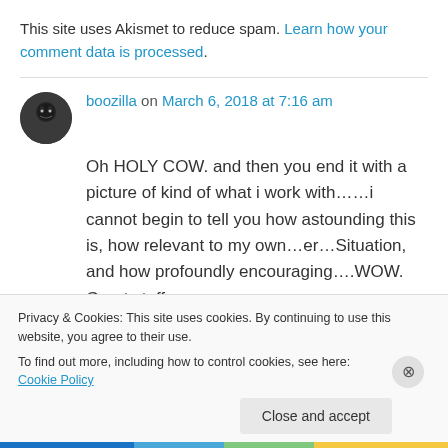This site uses Akismet to reduce spam. Learn how your comment data is processed.
boozilla on March 6, 2018 at 7:16 am
Oh HOLY COW. and then you end it with a picture of kind of what i work with……i cannot begin to tell you how astounding this is, how relevant to my own…er…Situation, and how profoundly encouraging….WOW. Great stuff,
Privacy & Cookies: This site uses cookies. By continuing to use this website, you agree to their use.
To find out more, including how to control cookies, see here: Cookie Policy